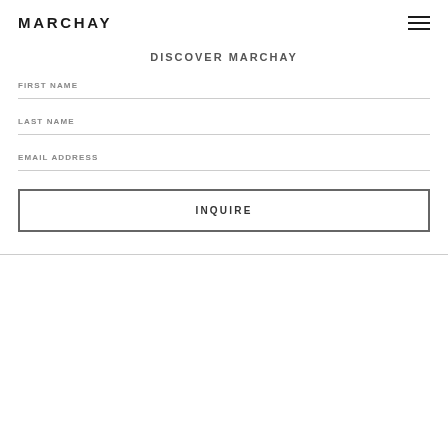MARCHAY
DISCOVER MARCHAY
FIRST NAME
LAST NAME
EMAIL ADDRESS
INQUIRE